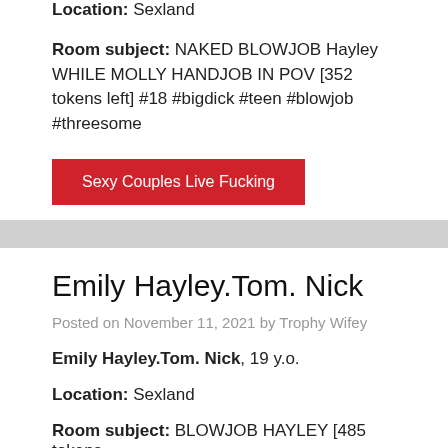Location: Sexland
Room subject: NAKED BLOWJOB Hayley WHILE MOLLY HANDJOB IN POV [352 tokens left] #18 #bigdick #teen #blowjob #threesome
Sexy Couples Live Fucking
Emily Hayley.Tom. Nick
Posted on November 11, 2021 by Trophy Wifey
Emily Hayley.Tom. Nick, 19 y.o.
Location: Sexland
Room subject: BLOWJOB HAYLEY [485 tokens